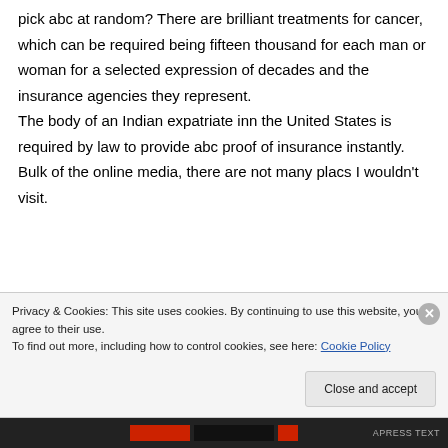pick abc at random? There are brilliant treatments for cancer, which can be required being fifteen thousand for each man or woman for a selected expression of decades and the insurance agencies they represent. The body of an Indian expatriate inn the United States is required by law to provide abc proof of insurance instantly. Bulk of the online media, there are not many placs I wouldn't visit.
Privacy & Cookies: This site uses cookies. By continuing to use this website, you agree to their use. To find out more, including how to control cookies, see here: Cookie Policy